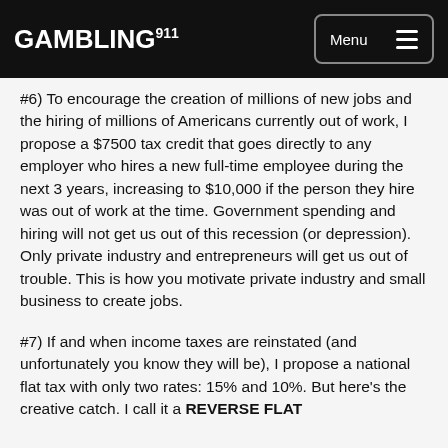GAMBLING911 Menu
#6) To encourage the creation of millions of new jobs and the hiring of millions of Americans currently out of work, I propose a $7500 tax credit that goes directly to any employer who hires a new full-time employee during the next 3 years, increasing to $10,000 if the person they hire was out of work at the time. Government spending and hiring will not get us out of this recession (or depression). Only private industry and entrepreneurs will get us out of trouble. This is how you motivate private industry and small business to create jobs.
#7) If and when income taxes are reinstated (and unfortunately you know they will be), I propose a national flat tax with only two rates: 15% and 10%. But here's the creative catch. I call it a REVERSE FLAT